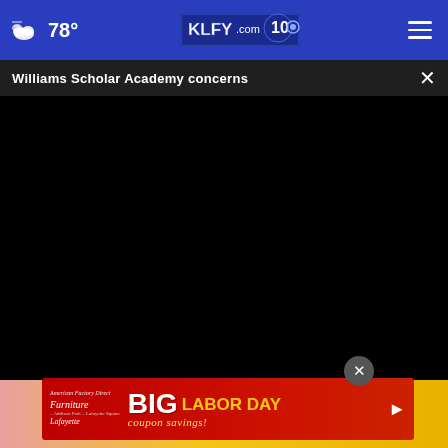78° KLFY.com 10
Williams Scholar Academy concerns
[Figure (screenshot): Black video player area with controls: play button, mute button, time display 00:00, captions button, fullscreen button. Progress bar with white dot at start.]
[Figure (photo): Background image showing yellow/orange tones with skin tones on the left side, partially visible behind an advertisement overlay.]
[Figure (illustration): Advertisement banner for American Factory Direct Furniture Lafayette - BIG LABOR DAY coupon savings! Red and yellow banner with furniture store logo.]